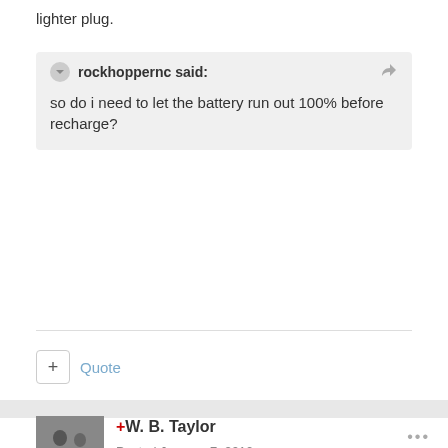lighter plug.
rockhoppernc said:
so do i need to let the battery run out 100% before recharge?
+ Quote
+W. B. Taylor
Posted January 7, 2010
rockhoppernc said:
I have a pn-40 along with a CR-V3 battery.I also have a charging dock as well as a usb cord.
i put it on the plug in charging dock when i went to sleep and still